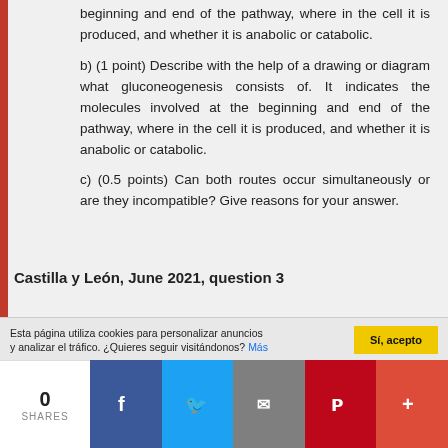beginning and end of the pathway, where in the cell it is produced, and whether it is anabolic or catabolic.
b) (1 point) Describe with the help of a drawing or diagram what gluconeogenesis consists of. It indicates the molecules involved at the beginning and end of the pathway, where in the cell it is produced, and whether it is anabolic or catabolic.
c) (0.5 points) Can both routes occur simultaneously or are they incompatible? Give reasons for your answer.
Castilla y León, June 2021, question 3
Esta página utiliza cookies para personalizar anuncios y analizar el tráfico. ¿Quieres seguir visitándonos? Más
Sí, acepto
0
SHARES